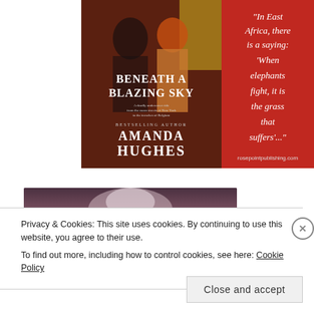[Figure (illustration): Book cover advertisement for 'Beneath a Blazing Sky' by Amanda Hughes. Left portion shows book cover with two women figures, title text, and author name. Right portion shows red background with italic white text quote: 'In East Africa, there is a saying: When elephants fight, it is the grass that suffers'...' and rosepointpublishing.com at bottom.]
[Figure (photo): Partial photo strip showing a blurry/atmospheric image in purple-pink tones, likely a portrait or scene.]
Privacy & Cookies: This site uses cookies. By continuing to use this website, you agree to their use.
To find out more, including how to control cookies, see here: Cookie Policy
Close and accept